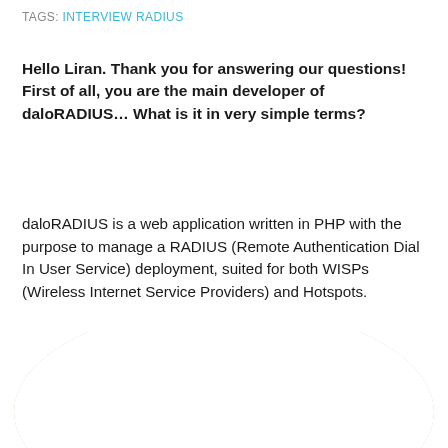TAGS: INTERVIEW RADIUS
Hello Liran. Thank you for answering our questions! First of all, you are the main developer of daloRADIUS… What is it in very simple terms?
daloRADIUS is a web application written in PHP with the purpose to manage a RADIUS (Remote Authentication Dial In User Service) deployment, suited for both WISPs (Wireless Internet Service Providers) and Hotspots.
[Figure (logo): daloRADIUS logo: a green globe/sphere shape made of curved green stripes on white background, viewed from above at an angle, forming an elliptical dome pattern.]